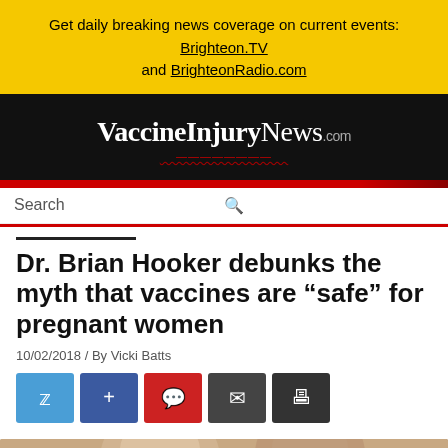Get daily breaking news coverage on current events: Brighteon.TV and BrighteonRadio.com
[Figure (logo): VaccineInjuryNews.com website logo on black background]
Search
Dr. Brian Hooker debunks the myth that vaccines are “safe” for pregnant women
10/02/2018 / By Vicki Batts
[Figure (photo): Photo of two women, one appearing pregnant]